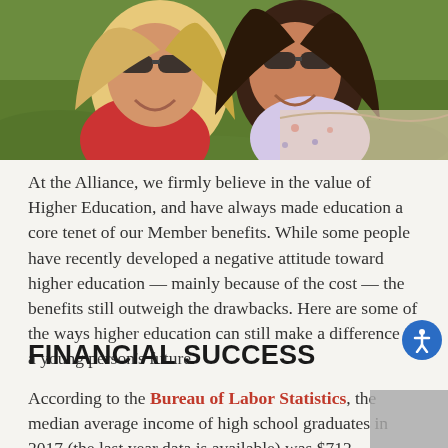[Figure (photo): Two young women lying on grass outdoors, smiling and wearing sunglasses, one in red shirt and one in floral top]
At the Alliance, we firmly believe in the value of Higher Education, and have always made education a core tenet of our Member benefits. While some people have recently developed a negative attitude toward higher education — mainly because of the cost — the benefits still outweigh the drawbacks. Here are some of the ways higher education can still make a difference in a young person's future.
FINANCIAL SUCCESS
According to the Bureau of Labor Statistics, the median average income of high school graduates in 2017 (the last year data is available) was $712.